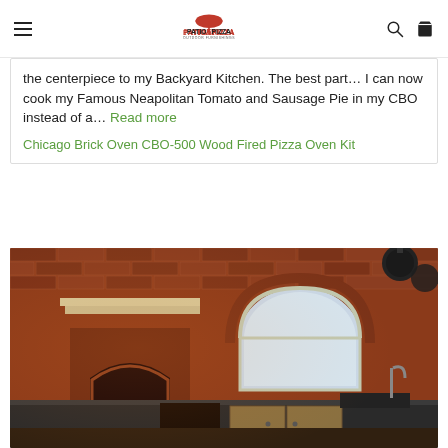Patio & Pizza Outdoor Furnishings — navigation header with logo, search, and cart icons
the centerpiece to my Backyard Kitchen. The best part… I can now cook my Famous Neapolitan Tomato and Sausage Pie in my CBO instead of a… Read more
Chicago Brick Oven CBO-500 Wood Fired Pizza Oven Kit
[Figure (photo): Interior brick outdoor kitchen with a wood-fired pizza oven built into a brick wall, arched window, dark countertops, and hanging pendant lights]